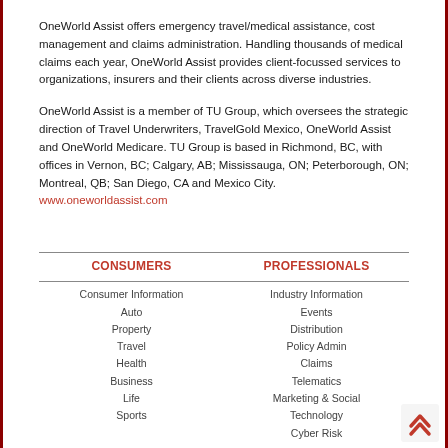OneWorld Assist offers emergency travel/medical assistance, cost management and claims administration. Handling thousands of medical claims each year, OneWorld Assist provides client-focussed services to organizations, insurers and their clients across diverse industries.
OneWorld Assist is a member of TU Group, which oversees the strategic direction of Travel Underwriters, TravelGold Mexico, OneWorld Assist and OneWorld Medicare. TU Group is based in Richmond, BC, with offices in Vernon, BC; Calgary, AB; Mississauga, ON; Peterborough, ON; Montreal, QB; San Diego, CA and Mexico City.
www.oneworldassist.com
CONSUMERS
PROFESSIONALS
Consumer Information
Auto
Property
Travel
Health
Business
Life
Sports
Industry Information
Events
Distribution
Policy Admin
Claims
Telematics
Marketing & Social
Technology
Cyber Risk